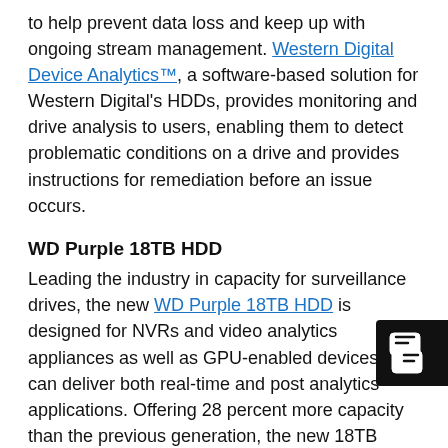to help prevent data loss and keep up with ongoing stream management. Western Digital Device Analytics™, a software-based solution for Western Digital's HDDs, provides monitoring and drive analysis to users, enabling them to detect problematic conditions on a drive and provides instructions for remediation before an issue occurs.
WD Purple 18TB HDD
Leading the industry in capacity for surveillance drives, the new WD Purple 18TB HDD is designed for NVRs and video analytics appliances as well as GPU-enabled devices that can deliver both real-time and post analytics applications. Offering 28 percent more capacity than the previous generation, the new 18TB drive has room to spare for storing video, reference images and metadata at the edge to support more effective AI. WD Purple drives from 8TB to 18TB feature AllFrame AI technology that enables recording of up to 64 high-definition cameras, as well as an